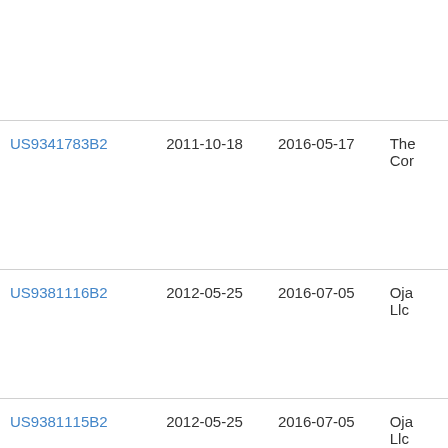| Patent | Filed | Published | Assignee |
| --- | --- | --- | --- |
| US9341783B2 | 2011-10-18 | 2016-05-17 | The... Cor... |
| US9381116B2 | 2012-05-25 | 2016-07-05 | Oja... Llc... |
| US9381115B2 | 2012-05-25 | 2016-07-05 | Oja... Llc... |
| US9415550B2 | 2012-08-22 | 2016-08-16 | The... Cor... |